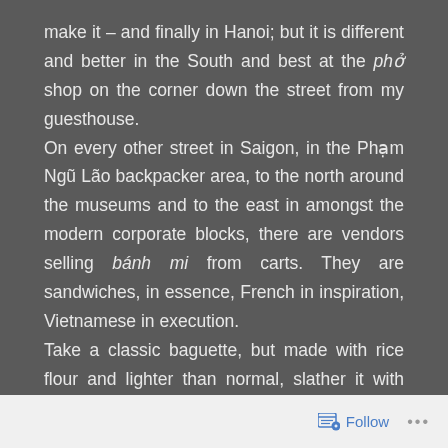make it – and finally in Hanoi; but it is different and better in the South and best at the phở shop on the corner down the street from my guesthouse.
On every other street in Saigon, in the Phạm Ngũ Lão backpacker area, to the north around the museums and to the east in amongst the modern corporate blocks, there are vendors selling bánh mi from carts. They are sandwiches, in essence, French in inspiration, Vietnamese in execution.
Take a classic baguette, but made with rice flour and lighter than normal, slather it with mayonnaise and hot chilli sauce, then stuff it with shredded, pickled carrot and daikon, sliced cucumber, coriander leaf and some
Follow ···